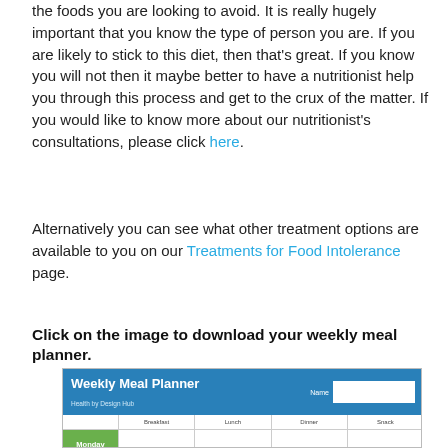the foods you are looking to avoid. It is really hugely important that you know the type of person you are. If you are likely to stick to this diet, then that's great. If you know you will not then it maybe better to have a nutritionist help you through this process and get to the crux of the matter. If you would like to know more about our nutritionist's consultations, please click here.
Alternatively you can see what other treatment options are available to you on our Treatments for Food Intolerance page.
Click on the image to download your weekly meal planner.
[Figure (screenshot): A preview thumbnail of a Weekly Meal Planner spreadsheet with a blue header, green day labels on the left, and columns for Breakfast, Lunch, Dinner, and Snack.]